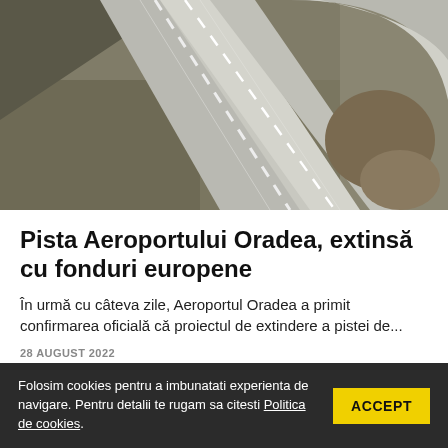[Figure (photo): Aerial view of an airport runway extension construction, showing concrete runway strips and surrounding brown earth/soil from above.]
Pista Aeroportului Oradea, extinsă cu fonduri europene
În urmă cu câteva zile, Aeroportul Oradea a primit confirmarea oficială că proiectul de extindere a pistei de...
28 AUGUST 2022
Folosim cookies pentru a imbunatati experienta de navigare. Pentru detalii te rugam sa citesti Politica de cookies.